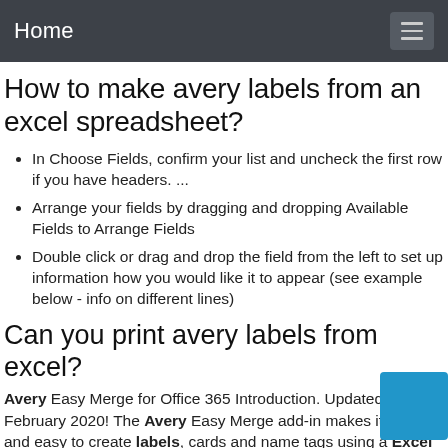Home
How to make avery labels from an excel spreadsheet?
In Choose Fields, confirm your list and uncheck the first row if you have headers. ...
Arrange your fields by dragging and dropping Available Fields to Arrange Fields
Double click or drag and drop the field from the left to set up information how you would like it to appear (see example below - info on different lines)
Can you print avery labels from excel?
Avery Easy Merge for Office 365 Introduction. Updated February 2020! The Avery Easy Merge add-in makes it quick and easy to create labels, cards and name tags using a Excel spreadsheet. The information in your list is merged into